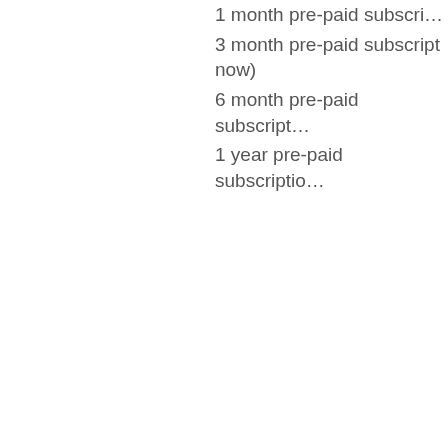1 month pre-paid subscri…
3 month pre-paid subscript… now)
6 month pre-paid subscript…
1 year pre-paid subscriptio…